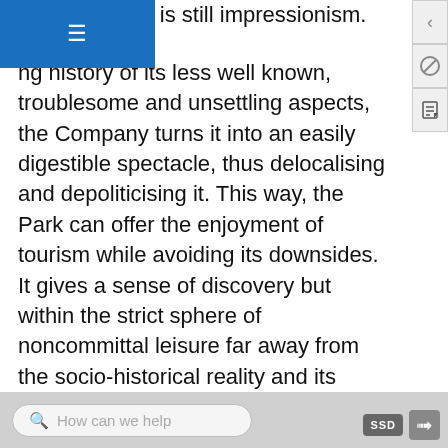pular of which is still impressionism. (21-22)
...ng history of its less well known, troublesome and unsettling aspects, the Company turns it into an easily digestible spectacle, thus delocalising and depoliticising it. This way, the Park can offer the enjoyment of tourism while avoiding its downsides. It gives a sense of discovery but within the strict sphere of noncommittal leisure far away from the socio-historical reality and its tribulations. On display in the Park is not the actual city where the vicissitudes of history left their traces and scars, but an artificial collage that stages a leisurely experience to be consumed by the clientele.
Far from being political, then, history is used for its aesthetic qualities and staged as a piece of scenery. It
How can we help